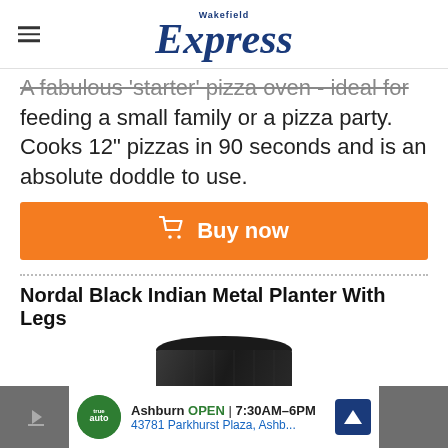Wakefield Express
A fabulous 'starter' pizza oven - ideal for feeding a small family or a pizza party. Cooks 12" pizzas in 90 seconds and is an absolute doddle to use.
[Figure (other): Orange 'Buy now' button with shopping cart icon]
Nordal Black Indian Metal Planter With Legs
[Figure (photo): Black metal planter product image (partial view)]
[Figure (other): Advertisement bar: Ashburn OPEN 7:30AM-6PM, 43781 Parkhurst Plaza, Ashb...]